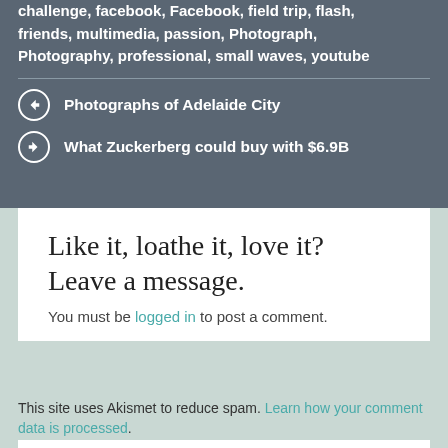challenge, facebook, Facebook, field trip, flash, friends, multimedia, passion, Photograph, Photography, professional, small waves, youtube
Photographs of Adelaide City
What Zuckerberg could buy with $6.9B
Like it, loathe it, love it? Leave a message.
You must be logged in to post a comment.
This site uses Akismet to reduce spam. Learn how your comment data is processed.
@EZTEPHEN SAID...
» My #fourdollarlunch : 1 #Avocado, 2 #boiledeggs, Salt, pepper and chilli flakes. Mashed, served over...